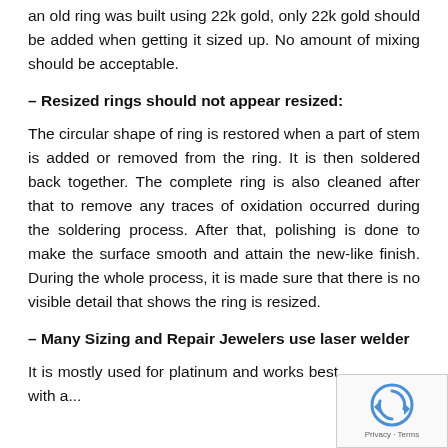an old ring was built using 22k gold, only 22k gold should be added when getting it sized up. No amount of mixing should be acceptable.
– Resized rings should not appear resized:
The circular shape of ring is restored when a part of stem is added or removed from the ring. It is then soldered back together. The complete ring is also cleaned after that to remove any traces of oxidation occurred during the soldering process. After that, polishing is done to make the surface smooth and attain the new-like finish. During the whole process, it is made sure that there is no visible detail that shows the ring is resized.
– Many Sizing and Repair Jewelers use laser welder
It is mostly used for platinum and works best with a...